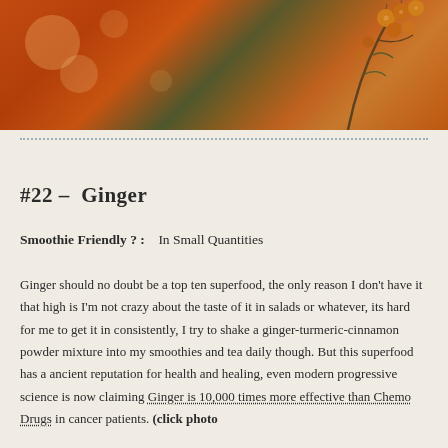[Figure (photo): Close-up photo of orange/red berries on a branch with bokeh background in warm orange and green tones]
#22 –  Ginger
Smoothie Friendly ? :    In Small Quantities
Ginger should no doubt be a top ten superfood, the only reason I don't have it that high is I'm not crazy about the taste of it in salads or whatever, its hard for me to get it in consistently, I try to shake a ginger-turmeric-cinnamon powder mixture into my smoothies and tea daily though. But this superfood has a ancient reputation for health and healing, even modern progressive science is now claiming Ginger is 10,000 times more effective than Chemo Drugs in cancer patients. (click photo